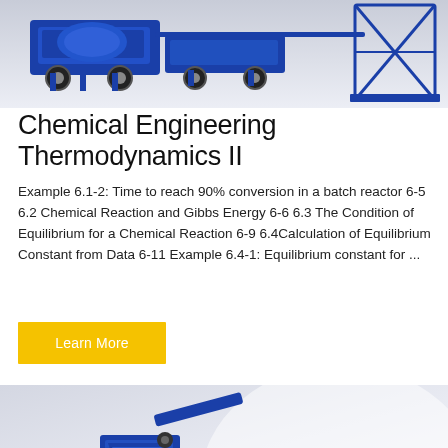[Figure (photo): Blue industrial machinery/equipment (mixing plant or construction machinery) on white background, top portion of page]
Chemical Engineering Thermodynamics II
Example 6.1-2: Time to reach 90% conversion in a batch reactor 6-5 6.2 Chemical Reaction and Gibbs Energy 6-6 6.3 The Condition of Equilibrium for a Chemical Reaction 6-9 6.4Calculation of Equilibrium Constant from Data 6-11 Example 6.4-1: Equilibrium constant for ...
Learn More
[Figure (photo): Blue industrial machinery/construction equipment on light grey/white background, bottom portion of page, partially visible]